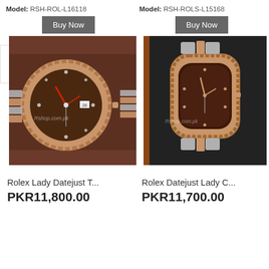Model: RSH-ROL-L16118
Model: RSH-ROLS-L15168
[Figure (photo): Rolex Lady Datejust watch with brown/chocolate dial, rose gold and silver jubilee bracelet, fluted bezel, on wooden background. Watermark: Rshop.com.pk]
[Figure (photo): Rolex Datejust Lady watch with chocolate dial, rose gold and steel oyster bracelet, fluted bezel, on dark cushioned display box. Watermark: Rshop.com.pk]
Rolex Lady Datejust T...
Rolex Datejust Lady C...
PKR11,800.00
PKR11,700.00